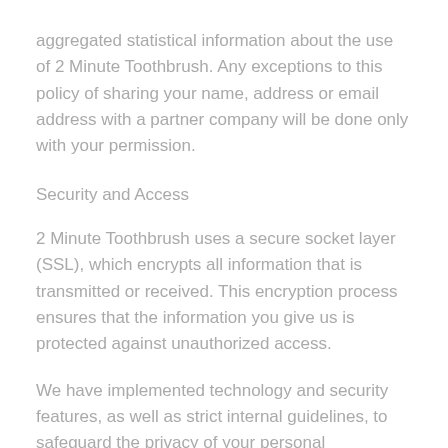aggregated statistical information about the use of 2 Minute Toothbrush. Any exceptions to this policy of sharing your name, address or email address with a partner company will be done only with your permission.
Security and Access
2 Minute Toothbrush uses a secure socket layer (SSL), which encrypts all information that is transmitted or received. This encryption process ensures that the information you give us is protected against unauthorized access.
We have implemented technology and security features, as well as strict internal guidelines, to safeguard the privacy of your personal information from unauthorized access or improper use. We will continue to enhance our security procedures as new technology becomes available. While we make every